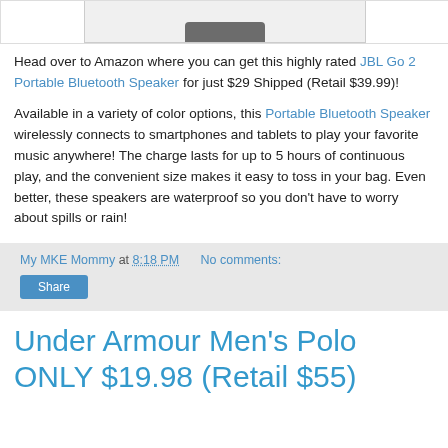[Figure (photo): Partial product image at top of page, cut off, dark object visible against white background]
Head over to Amazon where you can get this highly rated JBL Go 2 Portable Bluetooth Speaker for just $29 Shipped (Retail $39.99)!
Available in a variety of color options, this Portable Bluetooth Speaker wirelessly connects to smartphones and tablets to play your favorite music anywhere! The charge lasts for up to 5 hours of continuous play, and the convenient size makes it easy to toss in your bag. Even better, these speakers are waterproof so you don't have to worry about spills or rain!
My MKE Mommy at 8:18 PM   No comments:
Under Armour Men's Polo ONLY $19.98 (Retail $55)